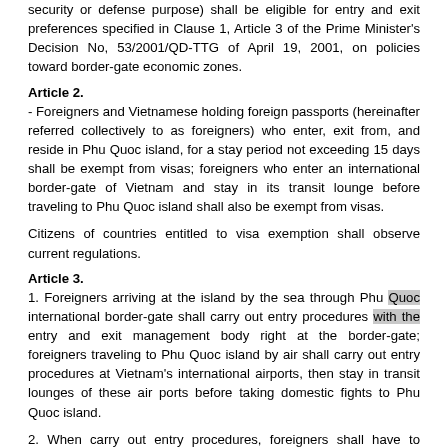(... security or defense purpose) shall be eligible for entry and exit preferences specified in Clause 1, Article 3 of the Prime Minister's Decision No, 53/2001/QD-TTG of April 19, 2001, on policies toward border-gate economic zones.
Article 2.
- Foreigners and Vietnamese holding foreign passports (hereinafter referred collectively to as foreigners) who enter, exit from, and reside in Phu Quoc island, for a stay period not exceeding 15 days shall be exempt from visas; foreigners who enter an international border-gate of Vietnam and stay in its transit lounge before traveling to Phu Quoc island shall also be exempt from visas.
Citizens of countries entitled to visa exemption shall observe current regulations.
Article 3.
1. Foreigners arriving at the island by the sea through Phu Quoc international border-gate shall carry out entry procedures with the entry and exit management body right at the border-gate; foreigners traveling to Phu Quoc island by air shall carry out entry procedures at Vietnam's international airports, then stay in transit lounges of these air ports before taking domestic fights to Phu Quoc island.
2. When carry out entry procedures, foreigners shall have to produce their passports which are still valid for at least 45 days...